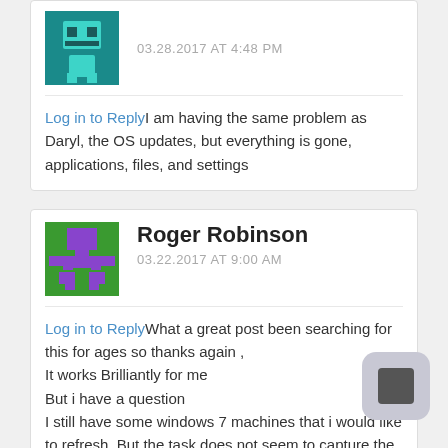Log in to Reply I am having the same problem as Daryl, the OS updates, but everything is gone, applications, files, and settings
Roger Robinson
03.22.2017 AT 9:00 AM
Log in to Reply What a great post been searching for this for ages so thanks again , It works Brilliantly for me But i have a question I still have some windows 7 machines that i would like to refresh, But the task does not seem to capture the user s is that because its designed to mov Windows 10. or am i missing something!!